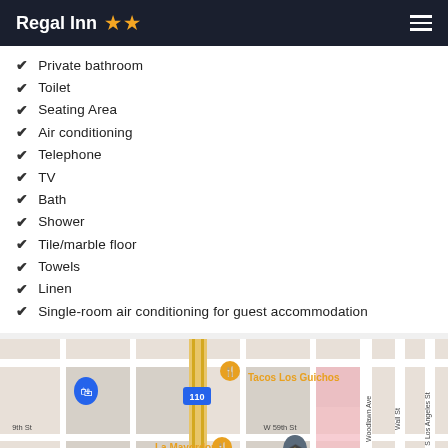Regal Inn ★★
Private bathroom
Toilet
Seating Area
Air conditioning
Telephone
TV
Bath
Shower
Tile/marble floor
Towels
Linen
Single-room air conditioning for guest accommodation
[Figure (map): Street map showing the area near Regal Inn, with labels for E 58th St, W 59th St, W 59th Pl, E 59th Pl, 9th St, 9th Pl, Woodlawn Ave, Wall St, S Los Angeles St, highway 110, and nearby places Tacos Los Guichos and La Mayordomia.]